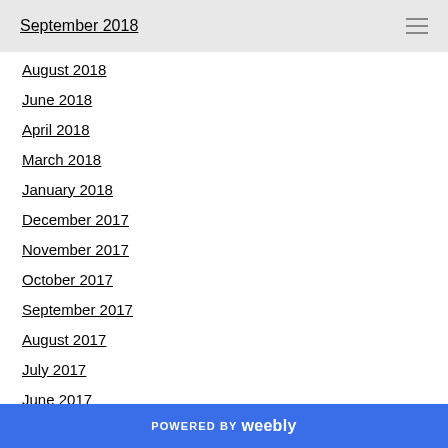September 2018
August 2018
June 2018
April 2018
March 2018
January 2018
December 2017
November 2017
October 2017
September 2017
August 2017
July 2017
June 2017
May 2017
April 2017
March 2017
POWERED BY weebly